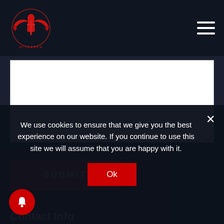[Figure (logo): Red eagle/bird logo with sword, website navigation bar with hamburger menu icon on right]
[Figure (screenshot): White textarea input box for a contact form]
SUBMIT
Contact Info
t: 018 175 0920
We use cookies to ensure that we give you the best experience on our website. If you continue to use this site we will assume that you are happy with it.
Ok